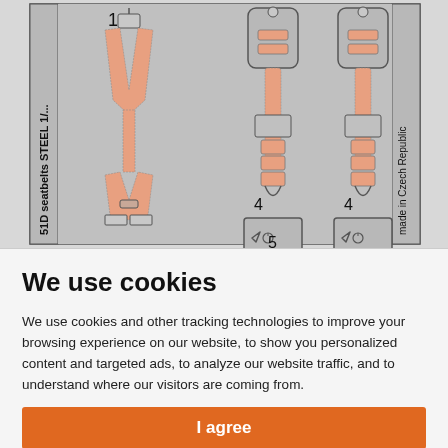[Figure (engineering-diagram): Technical diagram of seatbelts labeled '51D seatbelts STEEL 1/...' and 'Made in Czech Republic'. Shows numbered components: 1 (full harness seatbelt with crossed straps), 2 (retractor unit), 3 (retractor unit), 4 (buckle, shown twice), 5 (partial label at bottom). Parts are rendered in salmon/peach color on gray background with numbered callouts.]
We use cookies
We use cookies and other tracking technologies to improve your browsing experience on our website, to show you personalized content and targeted ads, to analyze our website traffic, and to understand where our visitors are coming from.
I agree